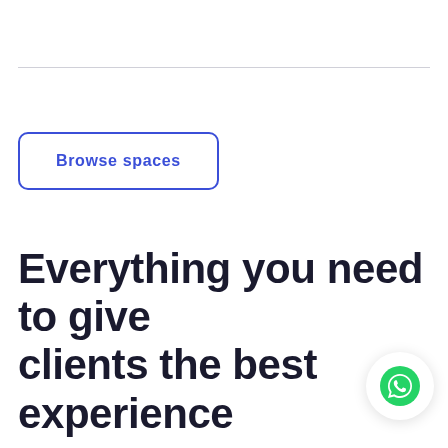Browse spaces
Everything you need to give your clients the best experience